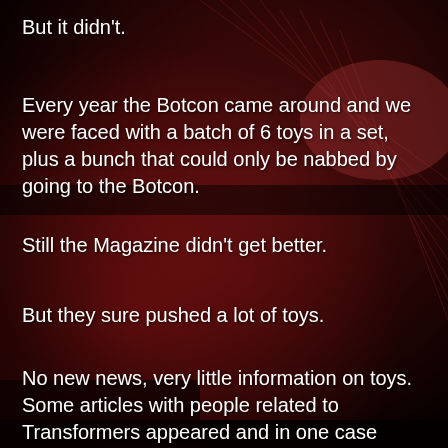But it didn't.
Every year the Botcon came around and we were faced with a batch of 6 toys in a set, plus a bunch that could only be nabbed by going to the Botcon.
Still the Magazine didn't get better.
But they sure pushed a lot of toys.
No new news, very little information on toys.  Some articles with people related to Transformers appeared and in one case wasn't even related to Transformers.